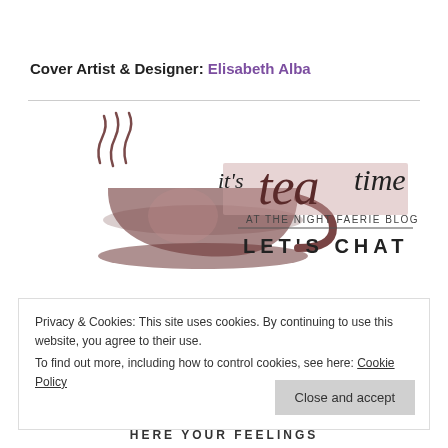Cover Artist & Designer: Elisabeth Alba
[Figure (logo): It's Tea Time at the Night Faerie Blog - Let's Chat logo with a watercolor teacup and stylized lettering]
Privacy & Cookies: This site uses cookies. By continuing to use this website, you agree to their use.
To find out more, including how to control cookies, see here: Cookie Policy
Close and accept
HERE YOUR FEELINGS